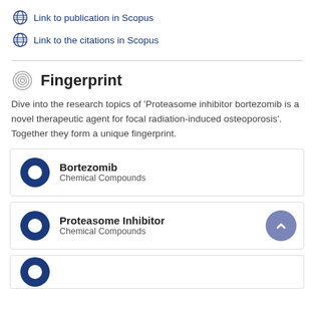Link to publication in Scopus
Link to the citations in Scopus
Fingerprint
Dive into the research topics of 'Proteasome inhibitor bortezomib is a novel therapeutic agent for focal radiation-induced osteoporosis'. Together they form a unique fingerprint.
Bortezomib
Chemical Compounds
Proteasome Inhibitor
Chemical Compounds
Proteasome Inhibitor
Chemical Compounds